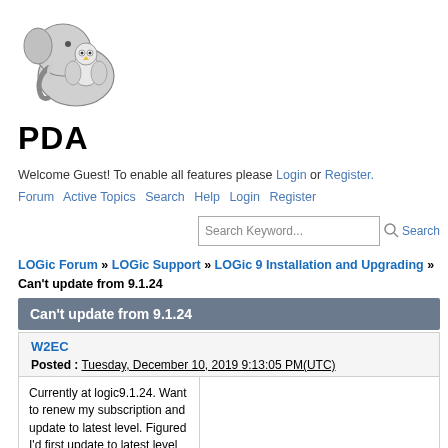[Figure (logo): Elephant holding owl logo with 'PDA' text below]
Welcome Guest! To enable all features please Login or Register.
Forum  Active Topics  Search  Help  Login  Register
Search Keyword...  Search
LOGic Forum » LOGic Support » LOGic 9 Installation and Upgrading » Can't update from 9.1.24
Can't update from 9.1.24
W2EC
Posted : Tuesday, December 10, 2019 9:13:05 PM(UTC)
Currently at logic9.1.24. Want to renew my subscription and update to latest level. Figured I'd first update to latest level